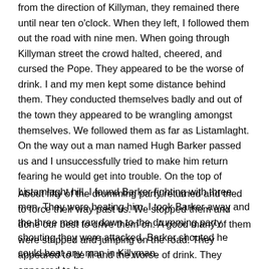from the direction of Killyman, they remained there until near ten o'clock. When they left, I followed them out the road with nine men. When going through Killyman street the crowd halted, cheered, and cursed the Pope. They appeared to be the worse of drink. I and my men kept some distance behind them. They conducted themselves badly and out of the town they appeared to be wrangling amongst themselves. We followed them as far as Listamlaght. On the way out a man named Hugh Barker passed us and I unsuccessfully tried to make him return fearing he would get into trouble. On the top of Listamlaght hill, I found Barker fighting with three men. They were beating him. I took Barker away and the three men ran down to the drumming party shouting they were attacked. Barker shouted he could beat any man in Killyman.
About fifty of the drumming party returned and tried to force their way past us. We stopped them and done our best to drive them on. A good many of them were stripped and jumping on the road. They appeared to be ill and the worse of drink. They appeared to be